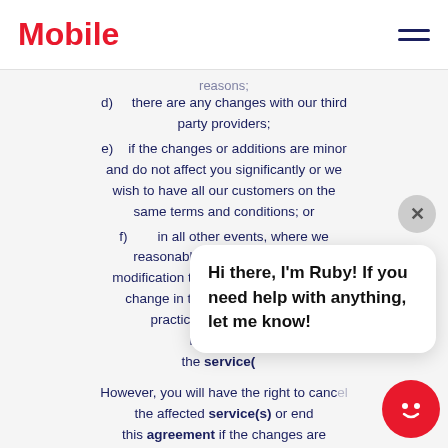Mobile
d)    there are any changes with our third party providers;
e)    if the changes or additions are minor and do not affect you significantly or we wish to have all our customers on the same terms and conditions; or
f)        in all other events, where we reasonably determine that any modification to the relevant system or change in trading practices or practices or maintaining the service(s)
However, you will have the right to cancel the affected service(s) or end this agreement if the changes are significant, as described in paragraph J3.
3.    Digicel may change our charges at